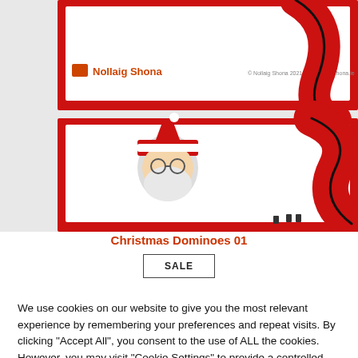[Figure (screenshot): Christmas Dominoes product image showing domino cards with Santa Claus illustration, red border design, 'Nollaig Shona' text, and copyright notice. Two domino panels visible.]
Christmas Dominoes 01
SALE
We use cookies on our website to give you the most relevant experience by remembering your preferences and repeat visits. By clicking "Accept All", you consent to the use of ALL the cookies. However, you may visit "Cookie Settings" to provide a controlled consent.